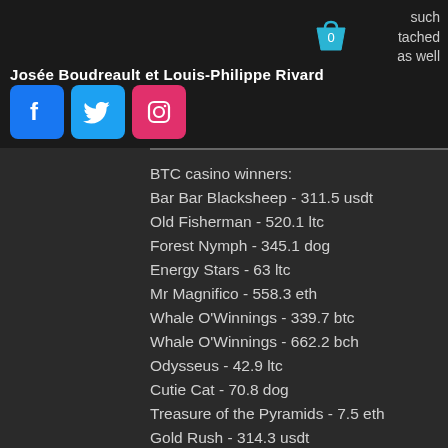Josée Boudreault et Louis-Philippe Rivard
such tached as well
BTC casino winners:
Bar Bar Blacksheep - 311.5 usdt
Old Fisherman - 520.1 ltc
Forest Nymph - 345.1 dog
Energy Stars - 63 ltc
Mr Magnifico - 558.3 eth
Whale O'Winnings - 339.7 btc
Whale O'Winnings - 662.2 bch
Odysseus - 42.9 ltc
Cutie Cat - 70.8 dog
Treasure of the Pyramids - 7.5 eth
Gold Rush - 314.3 usdt
Five Times Wins - 633.1 ltc
Mystic Wolf - 421.9 ltc
ly Sings - 455.4 btc
N' Bandits - 705 eth